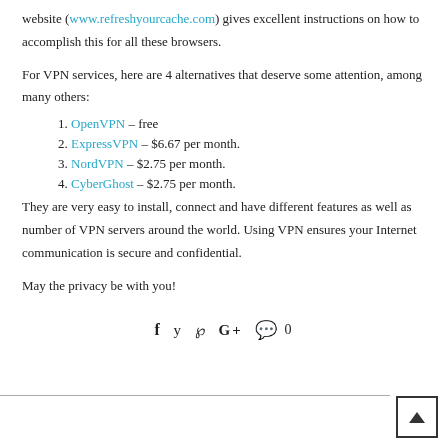website (www.refreshyourcache.com) gives excellent instructions on how to accomplish this for all these browsers.
For VPN services, here are 4 alternatives that deserve some attention, among many others:
1. OpenVPN – free
2. ExpressVPN – $6.67 per month.
3. NordVPN – $2.75 per month.
4. CyberGhost – $2.75 per month.
They are very easy to install, connect and have different features as well as number of VPN servers around the world. Using VPN ensures your Internet communication is secure and confidential.
May the privacy be with you!
[Figure (other): Social share icons: Facebook, Twitter, Pinterest, Google+, comment bubble with 0]